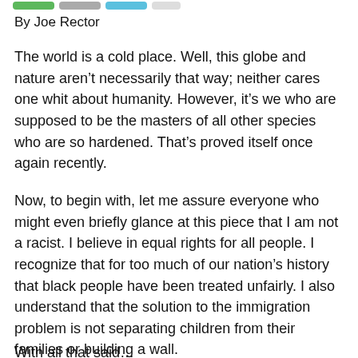By Joe Rector
The world is a cold place. Well, this globe and nature aren't necessarily that way; neither cares one whit about humanity. However, it's we who are supposed to be the masters of all other species who are so hardened. That's proved itself once again recently.
Now, to begin with, let me assure everyone who might even briefly glance at this piece that I am not a racist. I believe in equal rights for all people. I recognize that for too much of our nation's history that black people have been treated unfairly. I also understand that the solution to the immigration problem is not separating children from their families or building a wall.
With all that said…